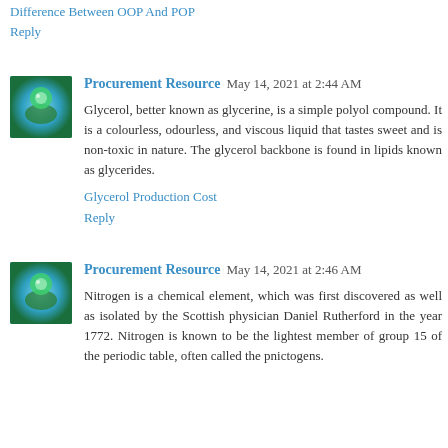Difference Between OOP And POP
Reply
Procurement Resource  May 14, 2021 at 2:44 AM
Glycerol, better known as glycerine, is a simple polyol compound. It is a colourless, odourless, and viscous liquid that tastes sweet and is non-toxic in nature. The glycerol backbone is found in lipids known as glycerides.
Glycerol Production Cost
Reply
Procurement Resource  May 14, 2021 at 2:46 AM
Nitrogen is a chemical element, which was first discovered as well as isolated by the Scottish physician Daniel Rutherford in the year 1772. Nitrogen is known to be the lightest member of group 15 of the periodic table, often called the pnictogens.